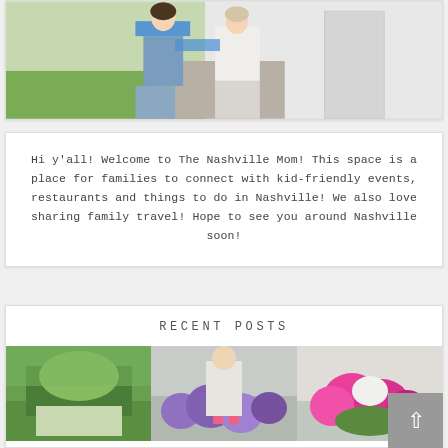[Figure (photo): Photo of two people outdoors near a white building, one wearing a colorful plaid shirt and blue pants]
Hi y'all! Welcome to The Nashville Mom! This space is a place for families to connect with kid-friendly events, restaurants and things to do in Nashville! We also love sharing family travel! Hope to see you around Nashville soon!
RECENT POSTS
[Figure (photo): Three small thumbnail photos showing outdoor scenes with flowers and people]